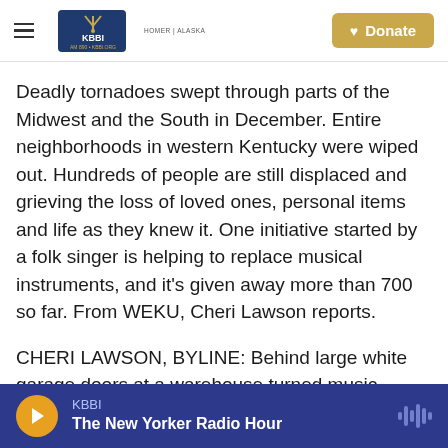KBBI AM 890 • KBBI.ORG HOMER | ALASKA — Donate
Deadly tornadoes swept through parts of the Midwest and the South in December. Entire neighborhoods in western Kentucky were wiped out. Hundreds of people are still displaced and grieving the loss of loved ones, personal items and life as they knew it. One initiative started by a folk singer is helping to replace musical instruments, and it's given away more than 700 so far. From WEKU, Cheri Lawson reports.
CHERI LAWSON, BYLINE: Behind large white garage doors at a warehouse turned music venue in Dawson Springs, Ky., Sterling Wallace and his
KBBI — The New Yorker Radio Hour